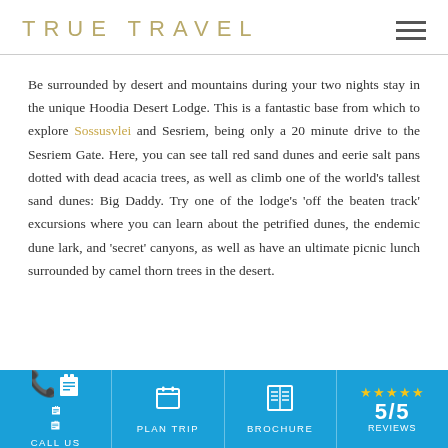TRUE TRAVEL
Be surrounded by desert and mountains during your two nights stay in the unique Hoodia Desert Lodge. This is a fantastic base from which to explore Sossusvlei and Sesriem, being only a 20 minute drive to the Sesriem Gate. Here, you can see tall red sand dunes and eerie salt pans dotted with dead acacia trees, as well as climb one of the world's tallest sand dunes: Big Daddy. Try one of the lodge's 'off the beaten track' excursions where you can learn about the petrified dunes, the endemic dune lark, and 'secret' canyons, as well as have an ultimate picnic lunch surrounded by camel thorn trees in the desert.
CALL US | PLAN TRIP | BROCHURE | 5/5 reviews